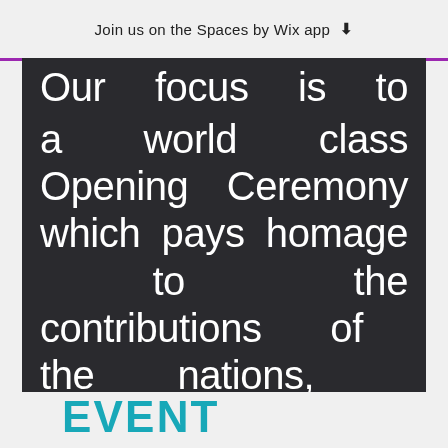Join us on the Spaces by Wix app
Our focus is to produce a world class Opening Ceremony which pays homage to the contributions of the nations, sponsors and athletes which have come together to make the 35th America's Cup a reality.
EVENT